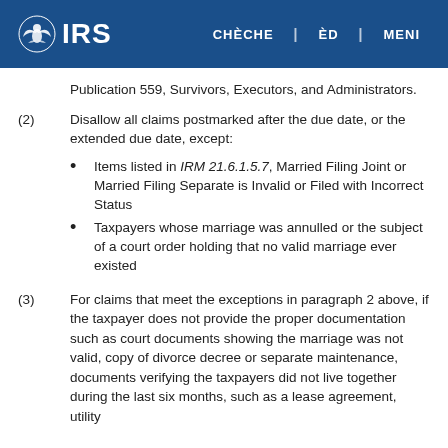IRS | CHÈCHE | ÈD | MENI
Publication 559, Survivors, Executors, and Administrators.
(2) Disallow all claims postmarked after the due date, or the extended due date, except:
Items listed in IRM 21.6.1.5.7, Married Filing Joint or Married Filing Separate is Invalid or Filed with Incorrect Status
Taxpayers whose marriage was annulled or the subject of a court order holding that no valid marriage ever existed
(3) For claims that meet the exceptions in paragraph 2 above, if the taxpayer does not provide the proper documentation such as court documents showing the marriage was not valid, copy of divorce decree or separate maintenance, documents verifying the taxpayers did not live together during the last six months, such as a lease agreement, utility